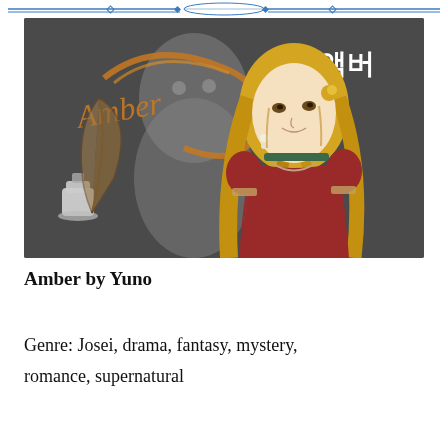[Figure (illustration): Manga/manhwa style illustration of a young woman named Amber with long blonde braided hair, wearing a red medieval-style dress with a green choker. She stands in front of a grey ghostly figure. The word 'Amber' is written in stylized orange script on the left, and Korean text '앰버' appears in the top right. An inkwell and quill are visible in the lower left.]
Amber by Yuno
Genre: Josei, drama, fantasy, mystery, romance, supernatural